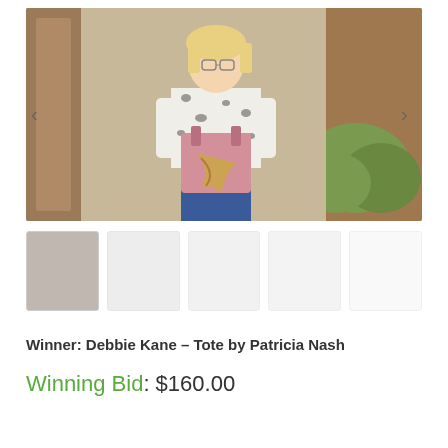[Figure (photo): A woman with blonde hair and glasses wearing a black-and-white leopard print top and blue pants, standing outdoors holding a pink tote bag with a colorful scarf. Background shows brick columns, a sidewalk, and a green shrub.]
[Figure (photo): Thumbnail images below the main photo, partially visible/blurred, showing additional views of the item or winner.]
Winner: Debbie Kane – Tote by Patricia Nash
Winning Bid: $160.00